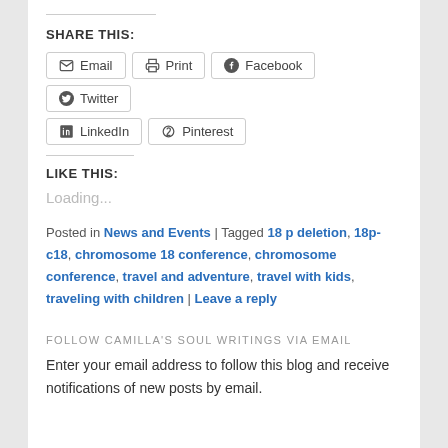SHARE THIS:
Email
Print
Facebook
Twitter
LinkedIn
Pinterest
LIKE THIS:
Loading...
Posted in News and Events | Tagged 18 p deletion, 18p-c18, chromosome 18 conference, chromosome conference, travel and adventure, travel with kids, traveling with children | Leave a reply
FOLLOW CAMILLA'S SOUL WRITINGS VIA EMAIL
Enter your email address to follow this blog and receive notifications of new posts by email.